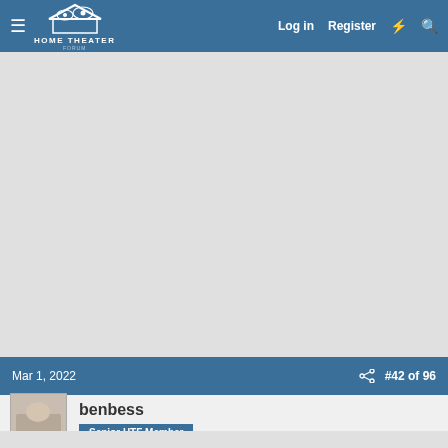HOME THEATER FORUM — Log in  Register
[Figure (screenshot): Large grey advertisement or content placeholder area]
Mar 1, 2022    #42 of 96
benbess
Senior HTF Member